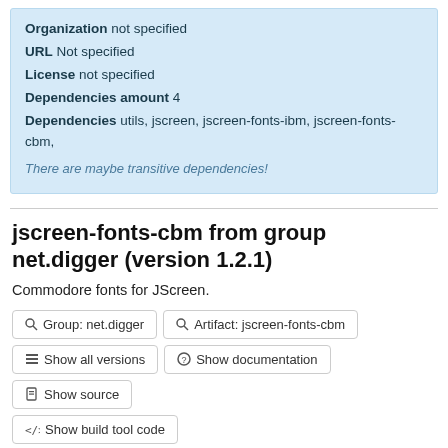Organization not specified
URL Not specified
License not specified
Dependencies amount 4
Dependencies utils, jscreen, jscreen-fonts-ibm, jscreen-fonts-cbm,
There are maybe transitive dependencies!
jscreen-fonts-cbm from group net.digger (version 1.2.1)
Commodore fonts for JScreen.
Group: net.digger  Artifact: jscreen-fonts-cbm  Show all versions  Show documentation  Show source  Show build tool code  Download jscreen-fonts-cbm.jar (1.2.1)  Add to Project  0 downloads